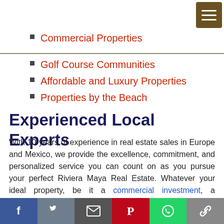Commercial Properties
Golf Course Communities
Affordable and Luxury Properties
Properties by the Beach
Experienced Local Experts
With 10-years of experience in real estate sales in Europe and Mexico, we provide the excellence, commitment, and personalized service you can count on as you pursue your perfect Riviera Maya Real Estate. Whatever your ideal property, be it a commercial investment, a beachfront home or an oceanfront condo, we have the properties and the market knowledge you need.
With an extensive inventory of listings and the most advanced real estate tools available make us the perfect